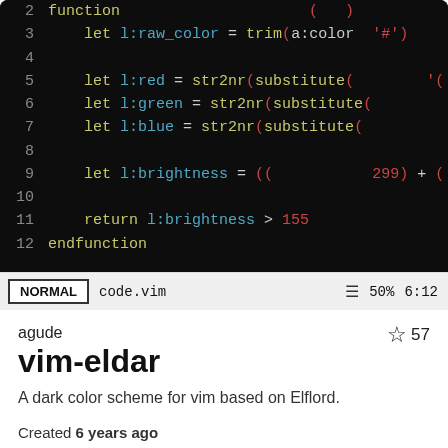[Figure (screenshot): Vim editor screenshot showing VimScript code for a color scheme function with dark background. Lines 2-12 visible, with yellow-green keywords, red strings/numbers, and a NORMAL mode status bar showing 'code.vim', '50%', '6:12'.]
agude
vim-eldar
A dark color scheme for vim based on Elflord.
Created 6 years ago
Last commit a month ago